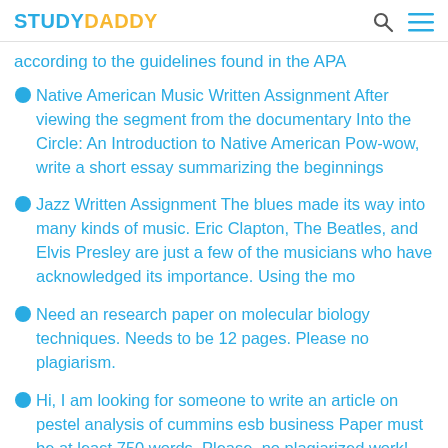STUDYDADDY
according to the guidelines found in the APA
Native American Music Written Assignment After viewing the segment from the documentary Into the Circle: An Introduction to Native American Pow-wow, write a short essay summarizing the beginnings
Jazz Written Assignment The blues made its way into many kinds of music. Eric Clapton, The Beatles, and Elvis Presley are just a few of the musicians who have acknowledged its importance. Using the mo
Need an research paper on molecular biology techniques. Needs to be 12 pages. Please no plagiarism.
Hi, I am looking for someone to write an article on pestel analysis of cummins esb business Paper must be at least 750 words. Please, no plagiarized work!